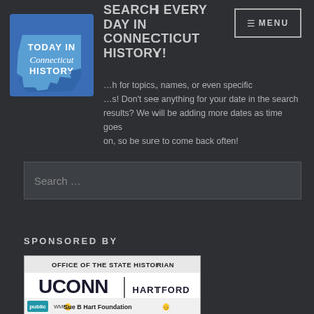SEARCH EVERY DAY IN CONNECTICUT HISTORY!
[Figure (logo): Today in Connecticut History logo — blue state shape with text: TODAY IN Connecticut HISTORY]
...h for topics, names, or even specific ...s! Don't see anything for your date in the search results? We will be adding more dates as time goes on, so be sure to come back often!
Search ...
SPONSORED BY
[Figure (logo): Sponsor logo block: OFFICE OF THE STATE HISTORIAN / UCONN | HARTFORD / public WMPI - Sue B Hart Foundation]